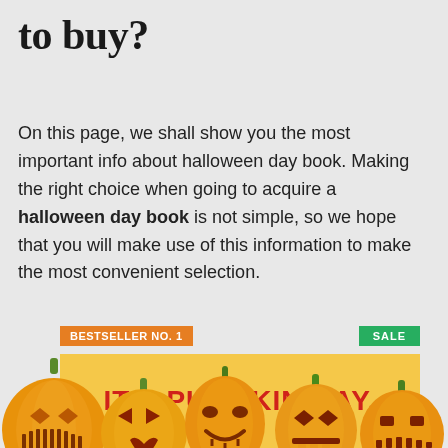to buy?
On this page, we shall show you the most important info about halloween day book. Making the right choice when going to acquire a halloween day book is not simple, so we hope that you will make use of this information to make the most convenient selection.
[Figure (illustration): Product listing area showing BESTSELLER NO. 1 badge (orange) and SALE badge (green), with a book cover showing 'IT'S PUMPKIN DAY,' and decorative Halloween pumpkin illustrations along the bottom of the page.]